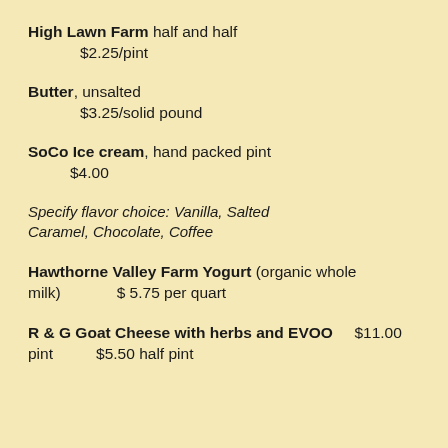High Lawn Farm half and half
$2.25/pint
Butter, unsalted
$3.25/solid pound
SoCo Ice cream, hand packed pint
$4.00
Specify flavor choice: Vanilla, Salted Caramel, Chocolate, Coffee
Hawthorne Valley Farm Yogurt (organic whole milk)   $ 5.75 per quart
R & G Goat Cheese with herbs and EVOO   $11.00 pint   $5.50 half pint